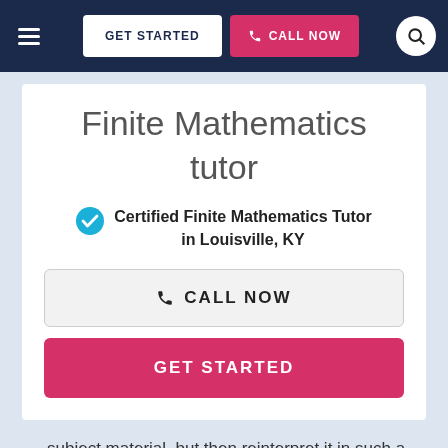GET STARTED | CALL NOW
Finite Mathematics tutor
Certified Finite Mathematics Tutor in Louisville, KY
CALL NOW
GET STARTED
…subject material, but then reinterpret it in such a way that someone younger with different educational experiences could understand. These basic rituals of my